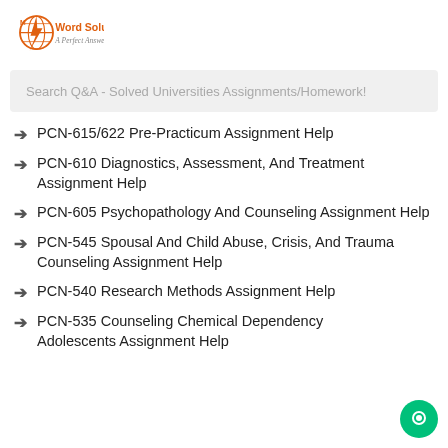[Figure (logo): My Word Solution logo with orange lightning bolt globe icon and text 'My Word Solution - A Perfect Answer']
Search Q&A - Solved Universities Assignments/Homework!
PCN-615/622 Pre-Practicum Assignment Help
PCN-610 Diagnostics, Assessment, And Treatment Assignment Help
PCN-605 Psychopathology And Counseling Assignment Help
PCN-545 Spousal And Child Abuse, Crisis, And Trauma Counseling Assignment Help
PCN-540 Research Methods Assignment Help
PCN-535 Counseling Chemical Dependency Adolescents Assignment Help